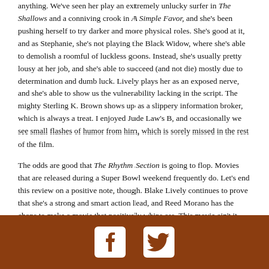anything. We've seen her play an extremely unlucky surfer in The Shallows and a conniving crook in A Simple Favor, and she's been pushing herself to try darker and more physical roles. She's good at it, and as Stephanie, she's not playing the Black Widow, where she's able to demolish a roomful of luckless goons. Instead, she's usually pretty lousy at her job, and she's able to succeed (and not die) mostly due to determination and dumb luck. Lively plays her as an exposed nerve, and she's able to show us the vulnerability lacking in the script. The mighty Sterling K. Brown shows up as a slippery information broker, which is always a treat. I enjoyed Jude Law's B, and occasionally we see small flashes of humor from him, which is sorely missed in the rest of the film.

The odds are good that The Rhythm Section is going to flop. Movies that are released during a Super Bowl weekend frequently do. Let's end this review on a positive note, though. Blake Lively continues to prove that she's a strong and smart action lead, and Reed Morano has the chops to make a movie that positively whips ass. This movie ain't it, but if Morano and
[Figure (other): Brown footer bar with Facebook and Twitter social media icons]